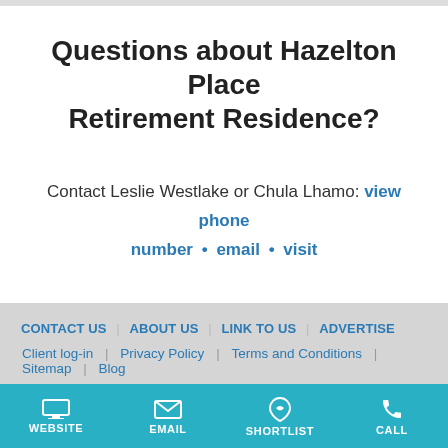Questions about Hazelton Place Retirement Residence?
Contact Leslie Westlake or Chula Lhamo: view phone number • email • visit
CONTACT US | ABOUT US | LINK TO US | ADVERTISE
Client log-in | Privacy Policy | Terms and Conditions | Sitemap | Blog
SUBSCRIBE TO NEWSLETTER  f  t  yt  p  v
Comfort Life is a division of Our Kids Media™ ©2002-2021 • Disclaimer: Information presented on this page may be partly advertising provided by the facility. Our advertisers must adhere to guidelines about claims. We verify by association of members. • Search Continuing Conditions
WEBSITE  EMAIL  SHORTLIST  CALL